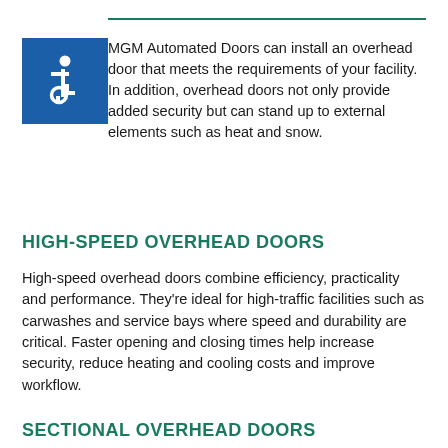[Figure (illustration): Blue square with white wheelchair accessibility symbol icon]
MGM Automated Doors can install an overhead door that meets the requirements of your facility. In addition, overhead doors not only provide added security but can stand up to external elements such as heat and snow.
HIGH-SPEED OVERHEAD DOORS
High-speed overhead doors combine efficiency, practicality and performance. They're ideal for high-traffic facilities such as carwashes and service bays where speed and durability are critical. Faster opening and closing times help increase security, reduce heating and cooling costs and improve workflow.
SECTIONAL OVERHEAD DOORS